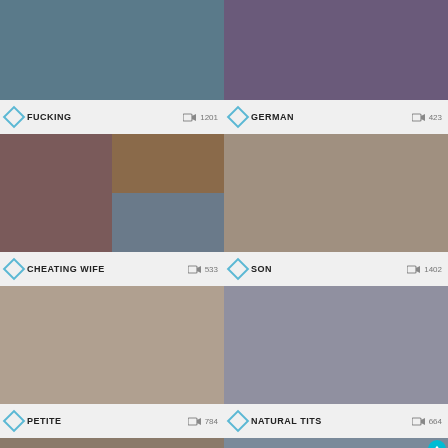[Figure (photo): Thumbnail for FUCKING category]
FUCKING  1201
[Figure (photo): Thumbnail for GERMAN category]
GERMAN  423
[Figure (photo): Thumbnail grid for CHEATING WIFE category]
CHEATING WIFE  533
[Figure (photo): Thumbnail for SON category]
SON  1402
[Figure (photo): Thumbnail for PETITE category]
PETITE  784
[Figure (photo): Thumbnail for NATURAL TITS category]
NATURAL TITS  664
[Figure (photo): Thumbnail for category row 4 left]
[Figure (photo): Thumbnail for category row 4 right]